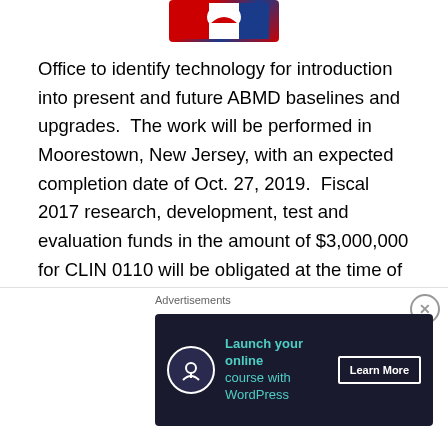[Figure (logo): Partial logo image at top of page, red white and blue colors]
Office to identify technology for introduction into present and future ABMD baselines and upgrades.  The work will be performed in Moorestown, New Jersey, with an expected completion date of Oct. 27, 2019.  Fiscal 2017 research, development, test and evaluation funds in the amount of $3,000,000 for CLIN 0110 will be obligated at the time of award, and will expire at the end of the current fiscal year.  The Missile Defense Agency, Dahlgren, Virginia, is the contracting activity.
ARMY
[Figure (logo): Partial Army logo image, gold/yellow color visible at bottom of page]
[Figure (screenshot): Advertisement overlay: 'Launch your online course with WordPress - Learn More' on dark background]